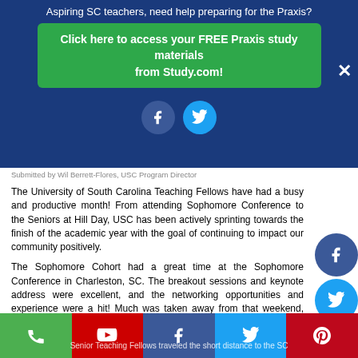Aspiring SC teachers, need help preparing for the Praxis?
Click here to access your FREE Praxis study materials from Study.com!
Submitted by Wil Berrett-Flores, USC Program Director
The University of South Carolina Teaching Fellows have had a busy and productive month! From attending Sophomore Conference to the Seniors at Hill Day, USC has been actively sprinting towards the finish of the academic year with the goal of continuing to impact our community positively.
The Sophomore Cohort had a great time at the Sophomore Conference in Charleston, SC. The breakout sessions and keynote address were excellent, and the networking opportunities and experience were a hit! Much was taken away from that weekend, and has greatly impacted their pre-professional development.
Senior Teaching Fellows traveled the short distance to the SC